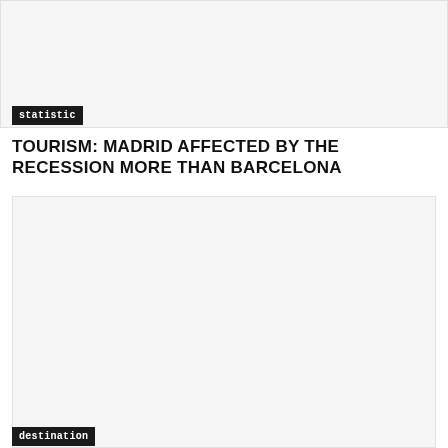[Figure (photo): Top image placeholder with light gray background]
statistic
TOURISM: MADRID AFFECTED BY THE RECESSION MORE THAN BARCELONA
[Figure (photo): Bottom image placeholder with light gray background]
destination